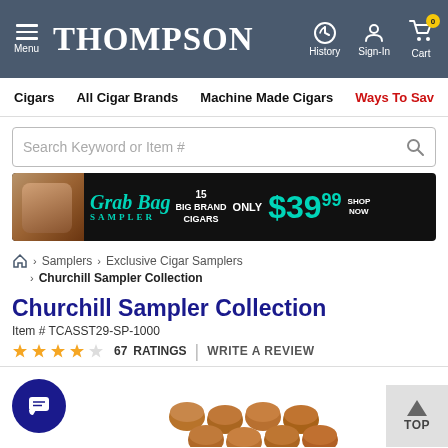THOMPSON — Menu | History | Sign-In | Cart (0)
Cigars   All Cigar Brands   Machine Made Cigars   Ways To Save
[Figure (screenshot): Search bar: Search Keyword or Item #]
[Figure (infographic): Grab Bag Sampler — 15 Big Brand Cigars Only $39.99 SHOP NOW]
Home > Samplers > Exclusive Cigar Samplers > Churchill Sampler Collection
Churchill Sampler Collection
Item # TCASST29-SP-1000
★★★★☆ 67 RATINGS | WRITE A REVIEW
[Figure (photo): Chat button (dark blue circle with message icon) and partial product photo showing tops of cigars]